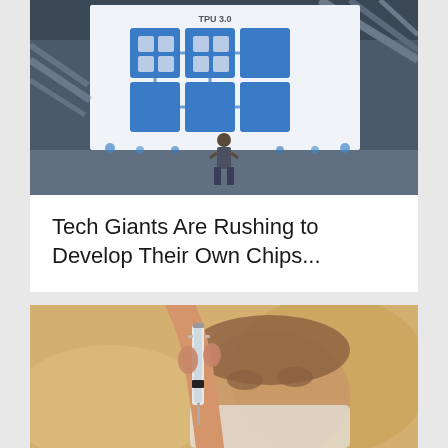[Figure (photo): Person presenting on stage in front of a large screen displaying a TPU 3.0 chip diagram at what appears to be a Google I/O conference]
Tech Giants Are Rushing to Develop Their Own Chips...
[Figure (photo): Close-up of a person wearing a surgical mask holding up a small medical vial or syringe]